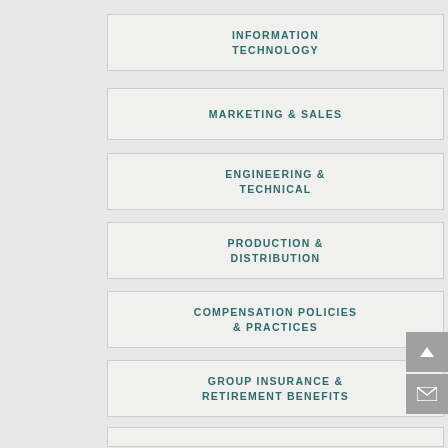INFORMATION TECHNOLOGY
MARKETING & SALES
ENGINEERING & TECHNICAL
PRODUCTION & DISTRIBUTION
COMPENSATION POLICIES & PRACTICES
GROUP INSURANCE & RETIREMENT BENEFITS